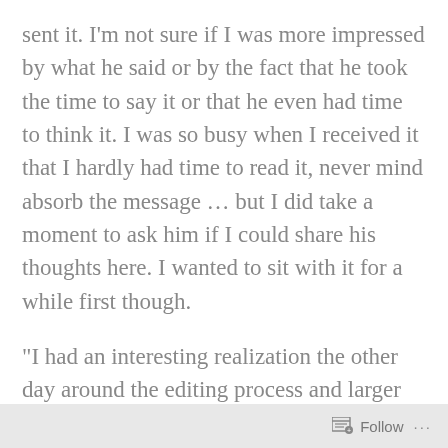sent it. I'm not sure if I was more impressed by what he said or by the fact that he took the time to say it or that he even had time to think it. I was so busy when I received it that I hardly had time to read it, never mind absorb the message … but I did take a moment to ask him if I could share his thoughts here. I wanted to sit with it for a while first though.
"I had an interesting realization the other day around the editing process and larger life lessons to be learned. I remember being quite fascinated with the editing
Follow ···